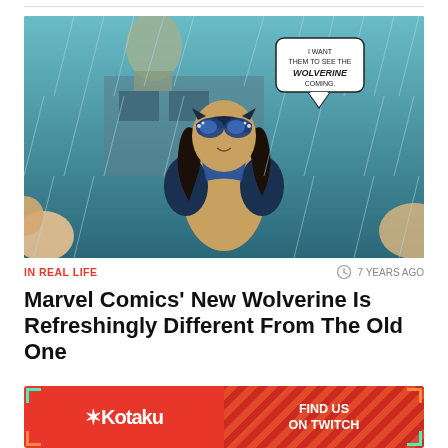[Figure (illustration): Marvel Comics illustration of the new female Wolverine in a yellow and blue costume with cat-eye mask standing in the rain. A speech bubble reads: I WANT THEM TO SEE THE WOLVERINE COMING.]
IN REAL LIFE
7 YEARS AGO
Marvel Comics' New Wolverine Is Refreshingly Different From The Old One
Evan Narcisse | 22
[Figure (logo): Kotaku advertisement banner with Kotaku logo on the left and FIND US ON TWITCH text on the right, with diagonal stripe pattern]